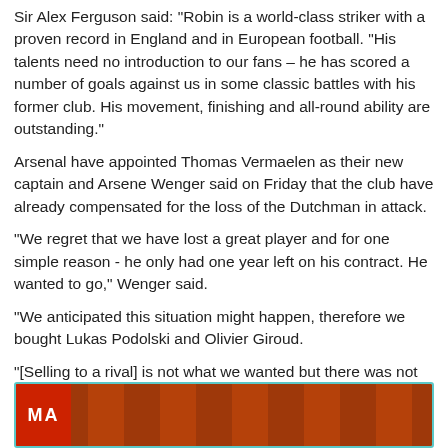Sir Alex Ferguson said: “Robin is a world-class striker with a proven record in England and in European football. “His talents need no introduction to our fans – he has scored a number of goals against us in some classic battles with his former club. His movement, finishing and all-round ability are outstanding.”
Arsenal have appointed Thomas Vermaelen as their new captain and Arsene Wenger said on Friday that the club have already compensated for the loss of the Dutchman in attack.
“We regret that we have lost a great player and for one simple reason - he only had one year left on his contract. He wanted to go,” Wenger said.
“We anticipated this situation might happen, therefore we bought Lukas Podolski and Olivier Giroud.
“[Selling to a rival] is not what we wanted but there was not much choice. We had only one club really interested at the level we thought would be acceptable and that was Manchester United.
[Figure (photo): Newspaper clipping image at the bottom of the page with red and brick-pattern background, partially visible text 'MA' in white bold letters on a red section.]